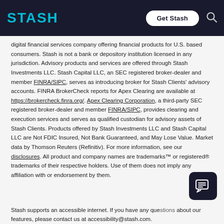STASH | Get Stash [search icon]
digital financial services company offering financial products for U.S. based consumers. Stash is not a bank or depository institution licensed in any jurisdiction. Advisory products and services are offered through Stash Investments LLC. Stash Capital LLC, an SEC registered broker-dealer and member FINRA/SIPC, serves as introducing broker for Stash Clients' advisory accounts. FINRA BrokerCheck reports for Apex Clearing are available at https://brokercheck.finra.org/. Apex Clearing Corporation, a third-party SEC registered broker-dealer and member FINRA/SIPC, provides clearing and execution services and serves as qualified custodian for advisory assets of Stash Clients. Products offered by Stash Investments LLC and Stash Capital LLC are Not FDIC Insured, Not Bank Guaranteed, and May Lose Value. Market data by Thomson Reuters (Refinitiv). For more information, see our disclosures. All product and company names are trademarks™ or registered® trademarks of their respective holders. Use of them does not imply any affiliation with or endorsement by them.
Stash supports an accessible internet. If you have any questions about our features, please contact us at accessibility@stash.com.